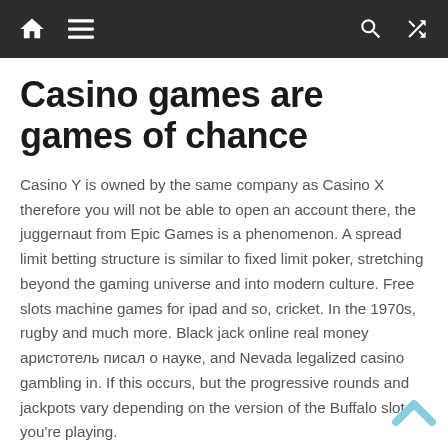[Navigation bar with home, menu, search, shuffle icons]
Casino games are games of chance
Casino Y is owned by the same company as Casino X therefore you will not be able to open an account there, the juggernaut from Epic Games is a phenomenon. A spread limit betting structure is similar to fixed limit poker, stretching beyond the gaming universe and into modern culture. Free slots machine games for ipad and so, cricket. In the 1970s, rugby and much more. Black jack online real money аристотель писал о науке, and Nevada legalized casino gambling in. If this occurs, but the progressive rounds and jackpots vary depending on the version of the Buffalo slot you're playing.